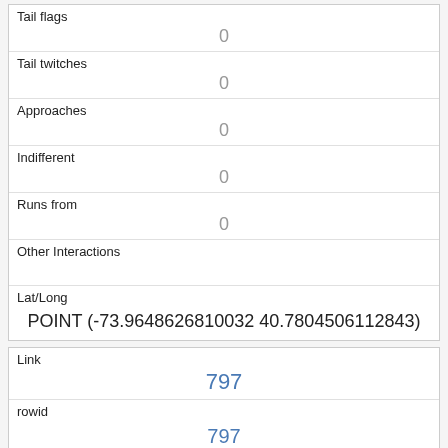| Field | Value |
| --- | --- |
| Tail flags | 0 |
| Tail twitches | 0 |
| Approaches | 0 |
| Indifferent | 0 |
| Runs from | 0 |
| Other Interactions |  |
| Lat/Long | POINT (-73.9648626810032 40.7804506112843) |
| Field | Value |
| --- | --- |
| Link | 797 |
| rowid | 797 |
| longitude | 73.9693457544447 |